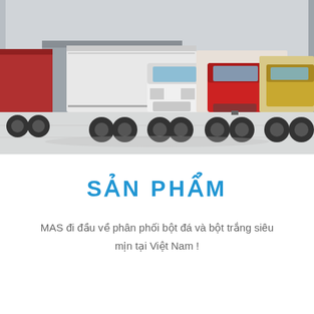[Figure (photo): Photograph of multiple semi-trucks and container trucks parked in front of a warehouse/loading dock. Trucks include white and red cab-over and conventional semi-trucks with shipping containers. The ground is a light concrete surface.]
SẢN PHẨM
MAS đi đầu về phân phối bột đá và bột trắng siêu mịn tại Việt Nam !